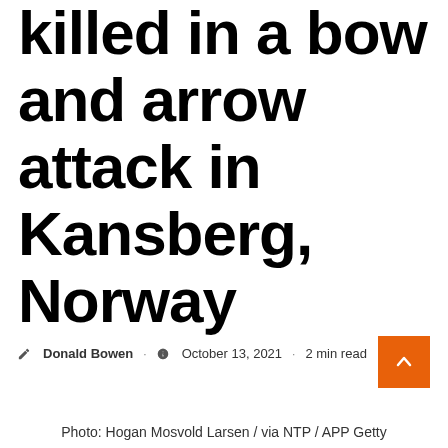killed in a bow and arrow attack in Kansberg, Norway
Donald Bowen · October 13, 2021 · 2 min read
Photo: Hogan Mosvold Larsen / via NTP / APP Getty